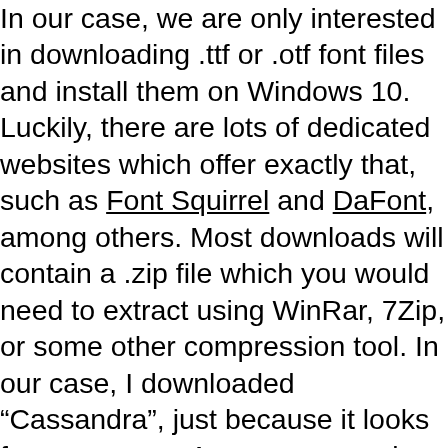In our case, we are only interested in downloading .ttf or .otf font files and install them on Windows 10. Luckily, there are lots of dedicated websites which offer exactly that, such as Font Squirrel and DaFont, among others. Most downloads will contain a .zip file which you would need to extract using WinRar, 7Zip, or some other compression tool. In our case, I downloaded “Cassandra”, just because it looks fancy, sue me. As you can see in the screenshot above, there is font file named “CassandraPersonalUseRegular-3BjG.ttf”, which is what I’ll be installing in the next step. This concludes our first step in terms of your options for downloading fonts not available on the Microsoft Store. For the sake